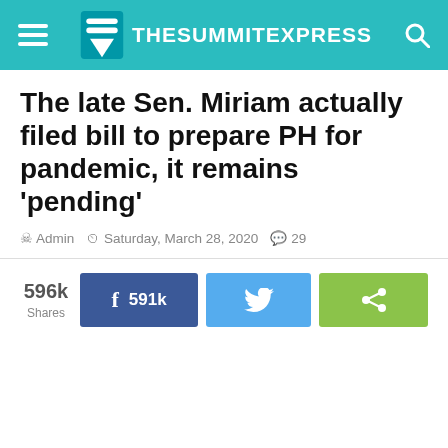THE SUMMIT EXPRESS
The late Sen. Miriam actually filed bill to prepare PH for pandemic, it remains 'pending'
Admin  Saturday, March 28, 2020  29
596k Shares  f 591k  (twitter bird)  (share icon)